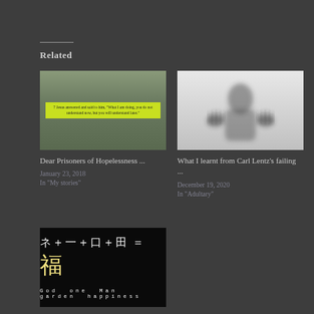Related
[Figure (photo): Blurred Bible text with yellow highlighted verse: '7 Jesus answered and said to him, "What I am doing, you do not understand now, but you will understand later."']
Dear Prisoners of Hopelessness ...
January 23, 2018
In "My stories"
[Figure (photo): Silhouette of a person with hands pressed against frosted glass, seen from behind in a misty white background]
What I learnt from Carl Lentz's failing ...
December 19, 2020
In "Adultary"
[Figure (photo): Black background with Chinese characters and equation: ネ＋一＋口＋田＝福, with English labels below: God one Man garden happiness]
The Gospel embedded in Chinese Characters
February 17, 2018